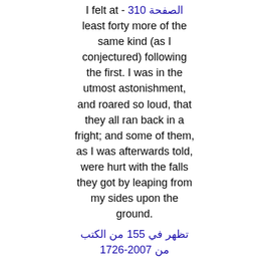I felt at - الصفحة 310 least forty more of the same kind (as I conjectured) following the first. I was in the utmost astonishment, and roared so loud, that they all ran back in a fright; and some of them, as I was afterwards told, were hurt with the falls they got by leaping from my sides upon the ground.
تظهر في 155 من الكتب من 1726-2007
They must - الصفحة 40 pry into the secret recesses of the human heart, and become well acquainted with the whole moral world, that